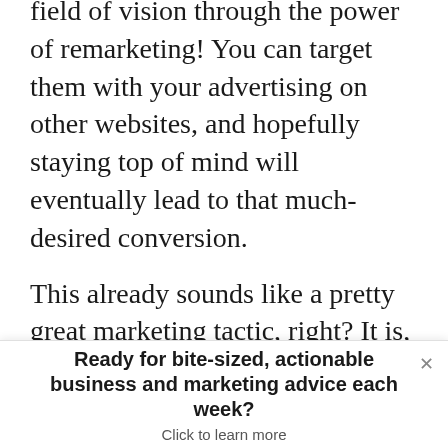field of vision through the power of remarketing! You can target them with your advertising on other websites, and hopefully staying top of mind will eventually lead to that much-desired conversion.
This already sounds like a pretty great marketing tactic, right? It is, but there are ways to build a remarketing strategy that can take your efforts to the next level and get even more conversions from interested prospects. Here’s how you do it.
Ready for bite-sized, actionable business and marketing advice each week? Click to learn more